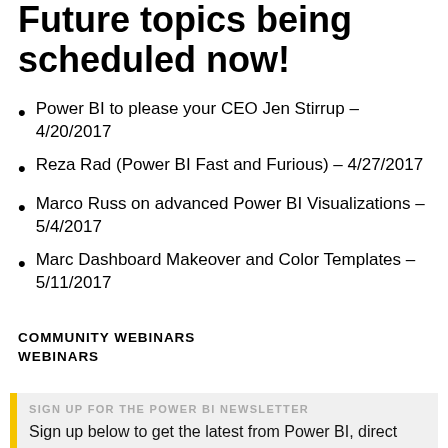Future topics being scheduled now!
Power BI to please your CEO Jen Stirrup – 4/20/2017
Reza Rad (Power BI Fast and Furious) – 4/27/2017
Marco Russ on advanced Power BI Visualizations – 5/4/2017
Marc Dashboard Makeover and Color Templates – 5/11/2017
COMMUNITY WEBINARS
WEBINARS
SIGN UP FOR THE POWER BI NEWSLETTER
Sign up below to get the latest from Power BI, direct